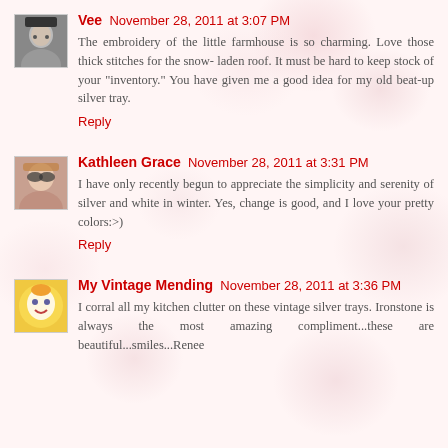Vee November 28, 2011 at 3:07 PM
The embroidery of the little farmhouse is so charming. Love those thick stitches for the snow- laden roof. It must be hard to keep stock of your "inventory." You have given me a good idea for my old beat-up silver tray.
Reply
Kathleen Grace November 28, 2011 at 3:31 PM
I have only recently begun to appreciate the simplicity and serenity of silver and white in winter. Yes, change is good, and I love your pretty colors:>)
Reply
My Vintage Mending November 28, 2011 at 3:36 PM
I corral all my kitchen clutter on these vintage silver trays. Ironstone is always the most amazing compliment...these are beautiful...smiles...Renee